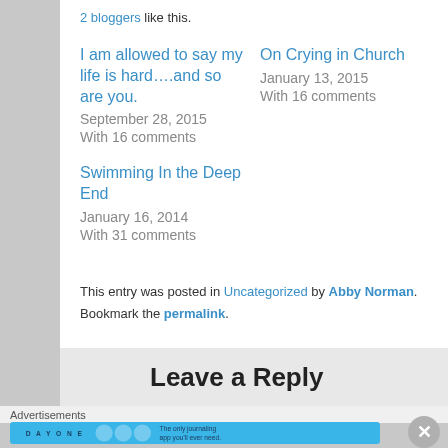2 bloggers like this.
I am allowed to say my life is hard….and so are you.
September 28, 2015
With 16 comments
On Crying in Church
January 13, 2015
With 16 comments
Swimming In the Deep End
January 16, 2014
With 31 comments
This entry was posted in Uncategorized by Abby Norman. Bookmark the permalink.
Leave a Reply
Advertisements
[Figure (infographic): Day One journaling app advertisement banner with blue background, app icons, and text 'The only journaling app you'll ever need.']